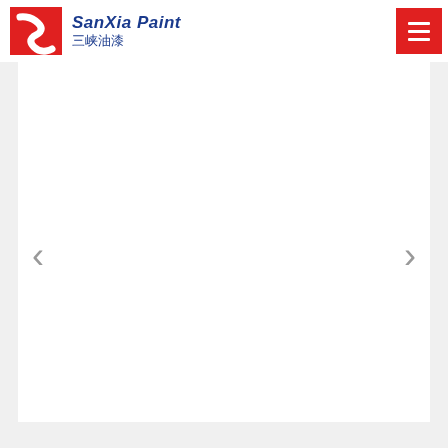SanXia Paint 三峡油漆
Related Products
Anti-corrosive Paint
Overview of F53-33 iron red phenolic anti-rus...